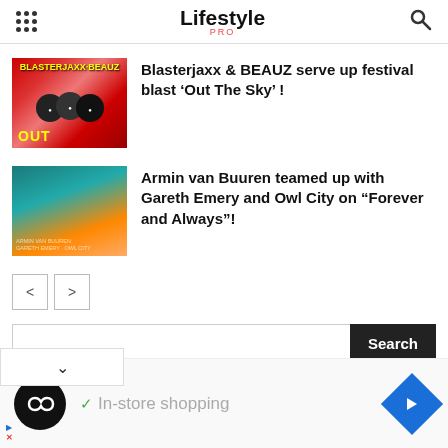Lifestyle PRO
[Figure (screenshot): Thumbnail image for Blasterjaxx & BEAUZ article showing artists with red festival background and text 'OUT']
Blasterjaxx & BEAUZ serve up festival blast ‘Out The Sky’ !
[Figure (screenshot): Thumbnail image for Armin van Buuren article showing teal/orange gradient album art]
Armin van Buuren teamed up with Gareth Emery and Owl City on “Forever and Always”!
< >
Search
[Figure (logo): Infinity loop logo on black circle, with In-store shopping text and navigation arrow]
✓ In-store shopping